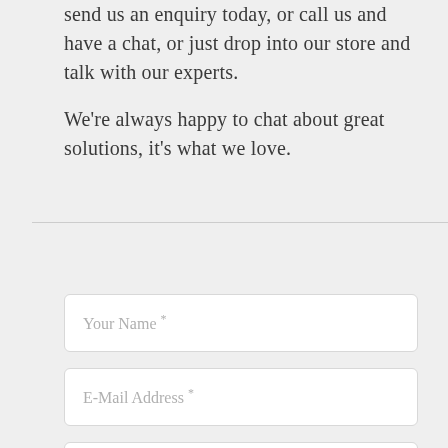send us an enquiry today, or call us and have a chat, or just drop into our store and talk with our experts.
We're always happy to chat about great solutions, it's what we love.
Your Name *
E-Mail Address *
Phone Number